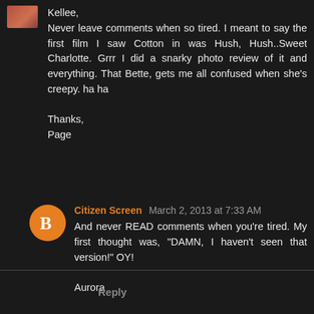[Figure (photo): Small avatar/profile image thumbnail in top left corner]
Kellee,
Never leave comments when so tired. I meant to say the first film I saw Cotton in was Hush, Hush..Sweet Charlotte. Grrr I did a snarky photo review of it and everything. That Bette, gets me all confused when she's creepy. ha ha

Thanks,
Page
[Figure (illustration): Orange circle avatar with white Blogger 'B' icon]
Citizen Screen March 2, 2013 at 7:33 AM
And never READ comments when you're tired. My first thought was, "DAMN, I haven't seen that version!" OY!

Aurora
Reply